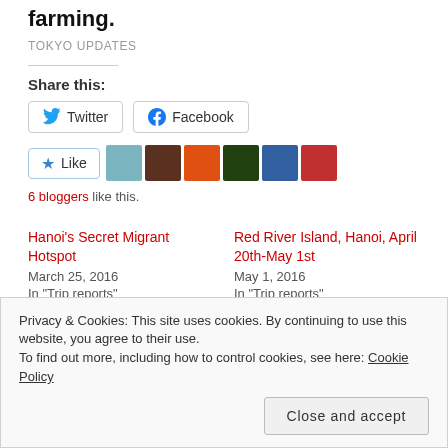How Tokyo is spearheading the rebirth of urban farming.
TOKYO UPDATES
Share this:
Twitter  Facebook
[Figure (other): Like button with star icon and 6 blogger avatars]
6 bloggers like this.
Hanoi's Secret Migrant Hotspot
March 25, 2016
In "Trip reports"
Red River Island, Hanoi, April 20th-May 1st
May 1, 2016
In "Trip reports"
Privacy & Cookies: This site uses cookies. By continuing to use this website, you agree to their use.
To find out more, including how to control cookies, see here: Cookie Policy
Close and accept